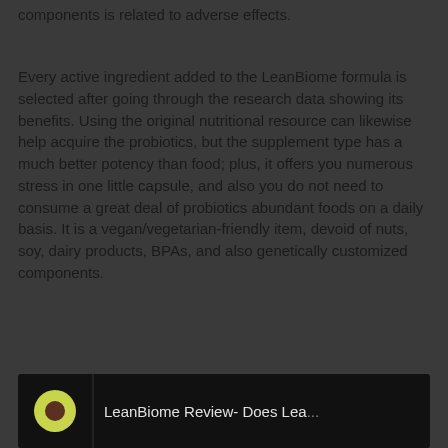components is related to adverse effects.
Every active ingredient added to the LeanBiome formula is selected after going through the research data showing its benefits. Using the original nutritional resource can likewise help acquire the probiotics, but the supplement type has a much better potency than food; plus, it offers you numerous stress in one little capsule, and also you do not need to consume a great deal of probiotics abundant foods on a daily basis. It is a vegan/vegetarian-friendly item, devoid of nuts, soy, dairy products, BPAs, and also genetically customized components.
[Figure (screenshot): Video thumbnail showing LeanBiome Review with a channel logo on the left and text 'LeanBiome Review- Does Lea...' on a dark background with green/olive backdrop]